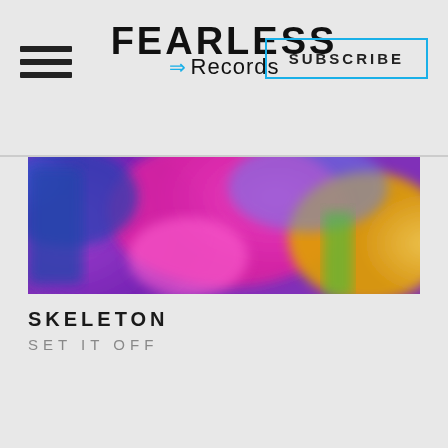Fearless Records
[Figure (photo): Colorful blurred music-related banner image with purple, pink, blue and yellow colors]
SKELETON
SET IT OFF